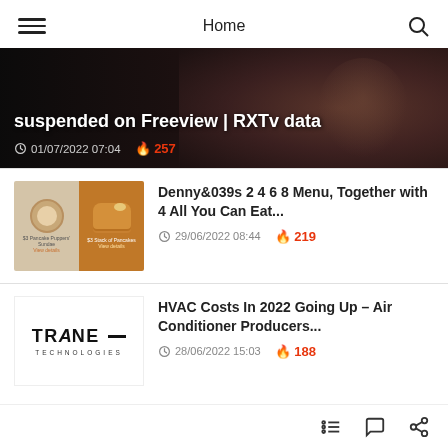Home
[Figure (screenshot): Hero banner article with dark background, headline text 'suspended on Freeview | RXTv data', date 01/07/2022 07:04, hot count 257]
[Figure (photo): Denny's menu item photos: pancake puppers sundae and stack of pancakes]
Denny&039s 2 4 6 8 Menu, Together with 4 All You Can Eat...
29/06/2022 08:44   219
[Figure (logo): Trane Technologies logo]
HVAC Costs In 2022 Going Up – Air Conditioner Producers...
28/06/2022 15:03   188
navigation icons: list, comment, share